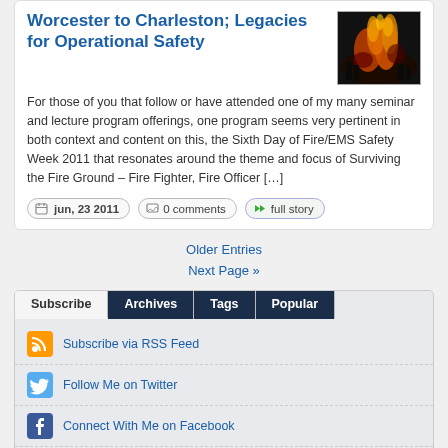Worcester to Charleston; Legacies for Operational Safety
For those of you that follow or have attended one of my many seminar and lecture program offerings, one program seems very pertinent in both context and content on this, the Sixth Day of Fire/EMS Safety Week 2011 that resonates around the theme and focus of Surviving the Fire Ground – Fire Fighter, Fire Officer […]
jun, 23 2011   0 comments   full story
Older Entries
Next Page »
Subscribe
Subscribe via RSS Feed
Follow Me on Twitter
Connect With Me on Facebook
Connect With Me on LinkedIn